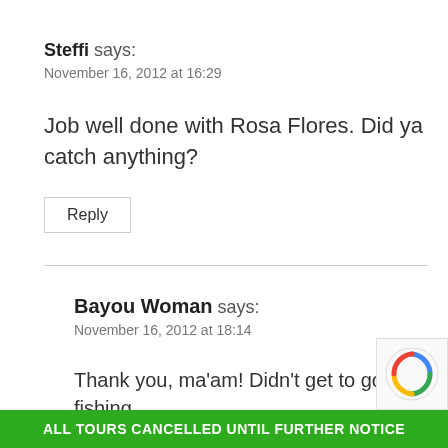Steffi says:
November 16, 2012 at 16:29
Job well done with Rosa Flores. Did ya catch anything?
Reply
Bayou Woman says:
November 16, 2012 at 18:14
Thank you, ma'am! Didn't get to go fishing.
ALL TOURS CANCELLED UNTIL FURTHER NOTICE